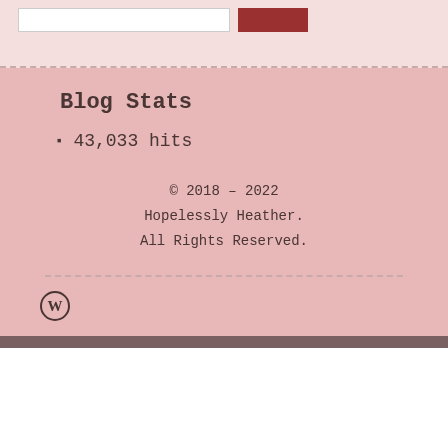Blog Stats
43,033 hits
© 2018 – 2022 Hopelessly Heather. All Rights Reserved.
[Figure (logo): WordPress logo circle W icon]